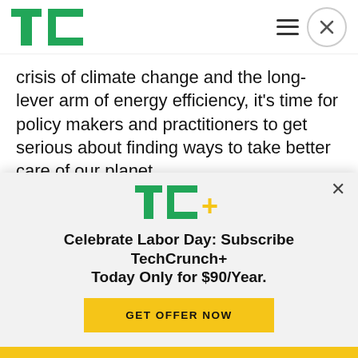TechCrunch
crisis of climate change and the long-lever arm of energy efficiency, it's time for policy makers and practitioners to get serious about finding ways to take better care of our planet.
In his most recent annual letter co-authored with his wife, Gates went so far as to say we need “an energy miracle” to solve this global crisis.
[Figure (logo): TechCrunch TC+ subscription overlay with logo, headline, and CTA button]
Celebrate Labor Day: Subscribe TechCrunch+ Today Only for $90/Year.
GET OFFER NOW